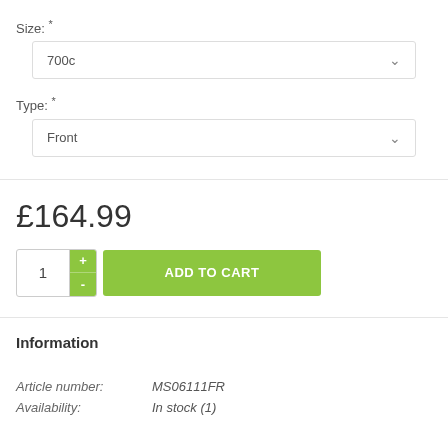Size: *
700c
Type: *
Front
£164.99
1
ADD TO CART
Information
Article number: MS06111FR
Availability: In stock (1)